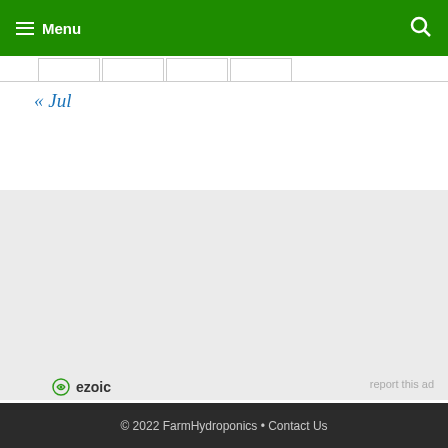Menu
« Jul
[Figure (other): Gray advertisement placeholder area with Ezoic branding and 'report this ad' link]
© 2022 FarmHydroponics • Contact Us